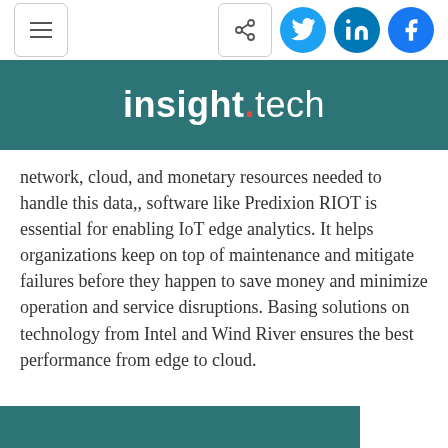insight.tech
network, cloud, and monetary resources needed to handle this data,, software like Predixion RIOT is essential for enabling IoT edge analytics. It helps organizations keep on top of maintenance and mitigate failures before they happen to save money and minimize operation and service disruptions. Basing solutions on technology from Intel and Wind River ensures the best performance from edge to cloud.
[Figure (other): Teal/green colored banner at bottom of page, partial view]